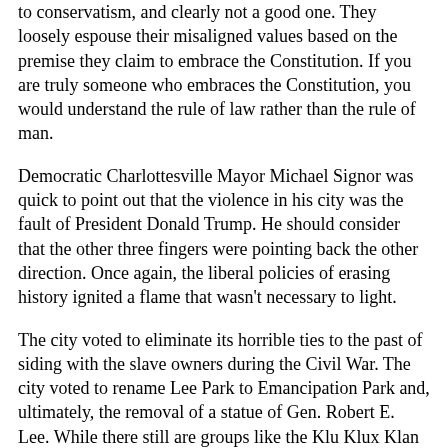to conservatism, and clearly not a good one. They loosely espouse their misaligned values based on the premise they claim to embrace the Constitution. If you are truly someone who embraces the Constitution, you would understand the rule of law rather than the rule of man.
Democratic Charlottesville Mayor Michael Signor was quick to point out that the violence in his city was the fault of President Donald Trump. He should consider that the other three fingers were pointing back the other direction. Once again, the liberal policies of erasing history ignited a flame that wasn't necessary to light.
The city voted to eliminate its horrible ties to the past of siding with the slave owners during the Civil War. The city voted to rename Lee Park to Emancipation Park and, ultimately, the removal of a statue of Gen. Robert E. Lee. While there still are groups like the Klu Klux Klan who may view Lee as a crusader, they also are missing the opportunity to teach future generations that it was Lee who surrendered at Appomattox to Gen. Ulysses S. Grant.
There are numerous problems with Signor's position to eliminate American history's ugly side. Signor's Democrats fail to recognize that statues and monuments are not all about the glory side of any debate. Lee was an American soldier who decided to defend his